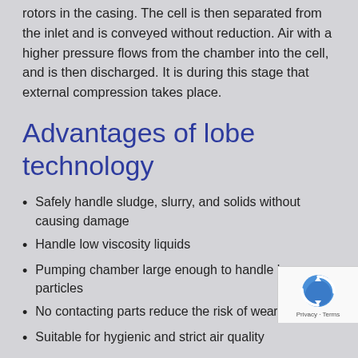rotors in the casing. The cell is then separated from the inlet and is conveyed without reduction. Air with a higher pressure flows from the chamber into the cell, and is then discharged. It is during this stage that external compression takes place.
Advantages of lobe technology
Safely handle sludge, slurry, and solids without causing damage
Handle low viscosity liquids
Pumping chamber large enough to handle large particles
No contacting parts reduce the risk of wear and tear
Suitable for hygienic and strict air quality